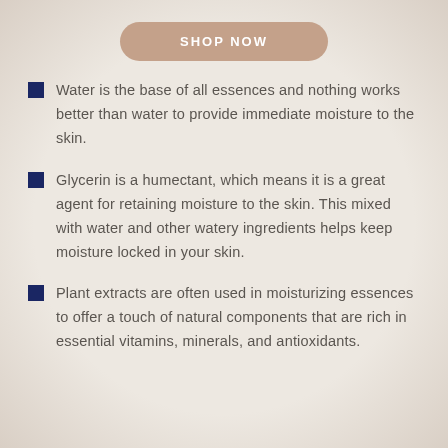[Figure (other): SHOP NOW button with rounded pill shape in muted terracotta/tan color]
Water is the base of all essences and nothing works better than water to provide immediate moisture to the skin.
Glycerin is a humectant, which means it is a great agent for retaining moisture to the skin. This mixed with water and other watery ingredients helps keep moisture locked in your skin.
Plant extracts are often used in moisturizing essences to offer a touch of natural components that are rich in essential vitamins, minerals, and antioxidants.